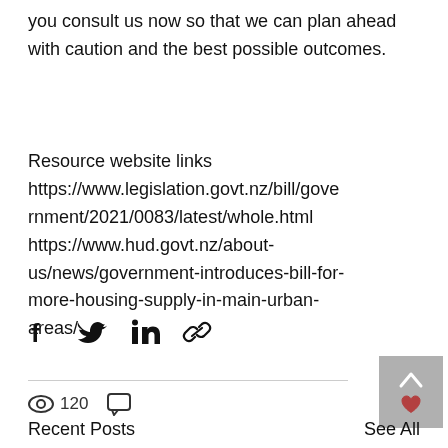you consult us now so that we can plan ahead with caution and the best possible outcomes.
Resource website links https://www.legislation.govt.nz/bill/government/2021/0083/latest/whole.html https://www.hud.govt.nz/about-us/news/government-introduces-bill-for-more-housing-supply-in-main-urban-areas/
[Figure (infographic): Social share icons: Facebook, Twitter, LinkedIn, link/copy]
[Figure (infographic): View count icon with 120 views, comment icon, and back-to-top button with heart icon]
Recent Posts
See All